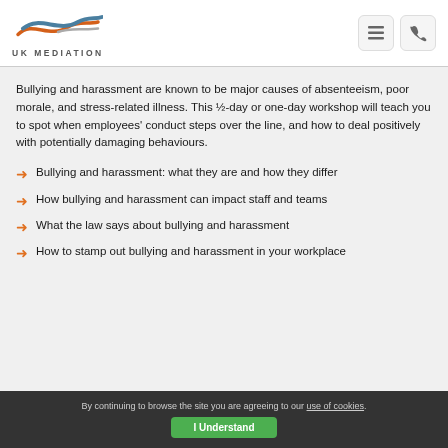UK MEDIATION
Bullying and harassment are known to be major causes of absenteeism, poor morale, and stress-related illness. This ½-day or one-day workshop will teach you to spot when employees' conduct steps over the line, and how to deal positively with potentially damaging behaviours.
Bullying and harassment: what they are and how they differ
How bullying and harassment can impact staff and teams
What the law says about bullying and harassment
How to stamp out bullying and harassment in your workplace
By continuing to browse the site you are agreeing to our use of cookies. I Understand